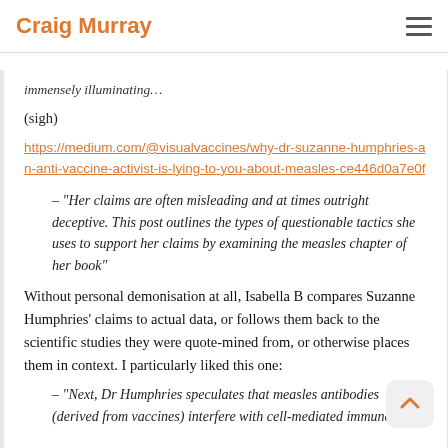Craig Murray
immensely illuminating…
(sigh)
https://medium.com/@visualvaccines/why-dr-suzanne-humphries-an-anti-vaccine-activist-is-lying-to-you-about-measles-ce446d0a7e0f
– "Her claims are often misleading and at times outright deceptive. This post outlines the types of questionable tactics she uses to support her claims by examining the measles chapter of her book"
Without personal demonisation at all, Isabella B compares Suzanne Humphries' claims to actual data, or follows them back to the scientific studies they were quote-mined from, or otherwise places them in context. I particularly liked this one:
– "Next, Dr Humphries speculates that measles antibodies (derived from vaccines) interfere with cell-mediated immune